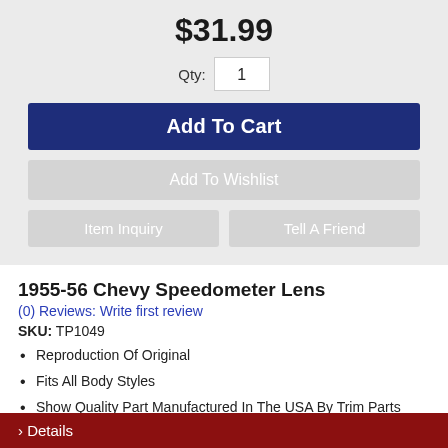$31.99
Qty: 1
Add To Cart
Add To Wishlist
Item Inquiry
Tell A Friend
1955-56 Chevy Speedometer Lens
(0) Reviews: Write first review
SKU: TP1049
Reproduction Of Original
Fits All Body Styles
Show Quality Part Manufactured In The USA By Trim Parts
Details